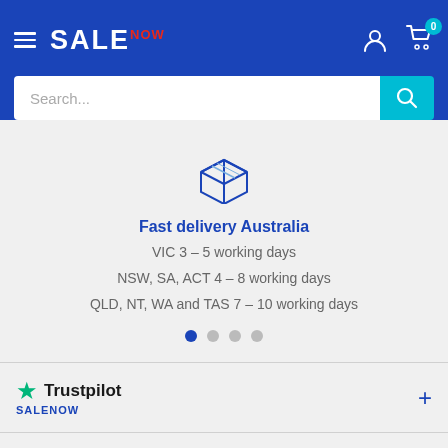SALE NOW – Navigation header with hamburger menu, logo, account icon, and cart icon (0 items)
Search...
[Figure (illustration): Box/package icon in dark blue outline style]
Fast delivery Australia
VIC 3 – 5 working days
NSW, SA, ACT 4 – 8 working days
QLD, NT, WA and TAS 7 – 10 working days
Trustpilot – SALENOW
INFO